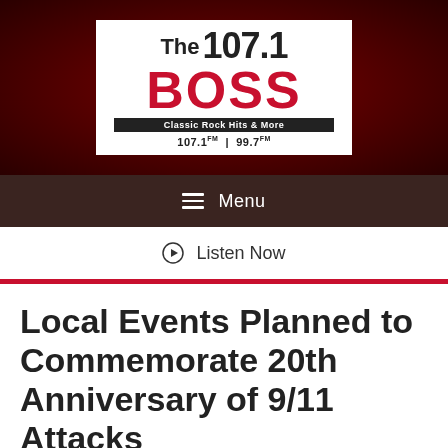[Figure (logo): The 107.1 BOSS Classic Rock Hits & More radio station logo, white background with red BOSS text, 107.1FM | 99.7FM]
Menu
Listen Now
Local Events Planned to Commemorate 20th Anniversary of 9/11 Attacks
September 10, 2021 | Michele Amabile | News